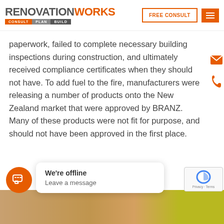RENOVATIONWORKS | CONSULT PLAN BUILD | FREE CONSULT
paperwork, failed to complete necessary building inspections during construction, and ultimately received compliance certificates when they should not have. To add fuel to the fire, manufacturers were releasing a number of products onto the New Zealand market that were approved by BRANZ. Many of these products were not fit for purpose, and should not have been approved in the first place.
We're offline
Leave a message